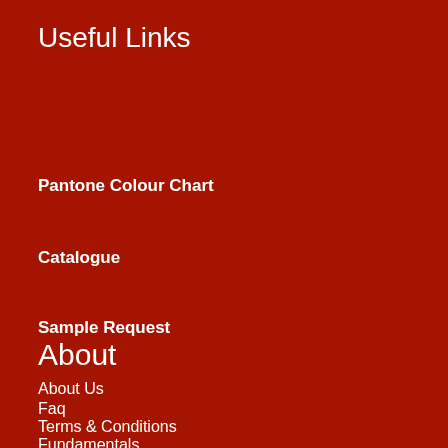Useful Links
Pantone Colour Chart
Catalogue
Sample Request
About
About Us
Faq
Terms & Conditions
Fundamentals
Make Enquiry
Contact Us
Paper Bags